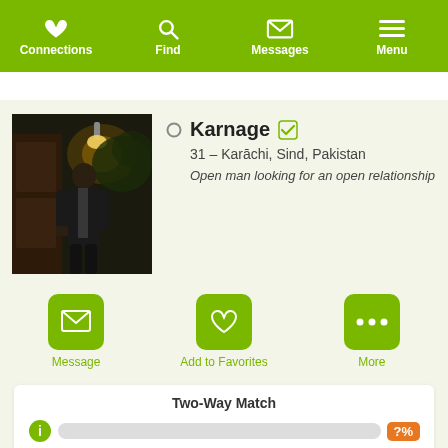Connections | Find | Messages | Menu
[Figure (photo): Profile photo of Karnage, a man in a dark suit standing near a door with outdoor lighting]
Karnage
31 – Karāchi, Sind, Pakistan
Open man looking for an open relationship
Message
Add to Favorites
More
Two-Way Match
Join and create your free profile today to see how well you match with him, and hundreds more.
Join now
Online: More than 6 months ago